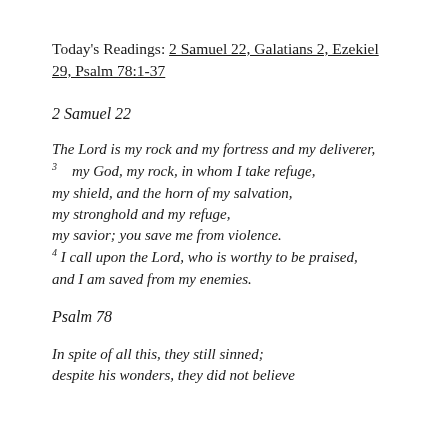Today's Readings: 2 Samuel 22, Galatians 2, Ezekiel 29, Psalm 78:1-37
2 Samuel 22
The Lord is my rock and my fortress and my deliverer,
3   my God, my rock, in whom I take refuge,
my shield, and the horn of my salvation,
my stronghold and my refuge,
my savior; you save me from violence.
4 I call upon the Lord, who is worthy to be praised,
and I am saved from my enemies.
Psalm 78
In spite of all this, they still sinned;
despite his wonders, they did not believe